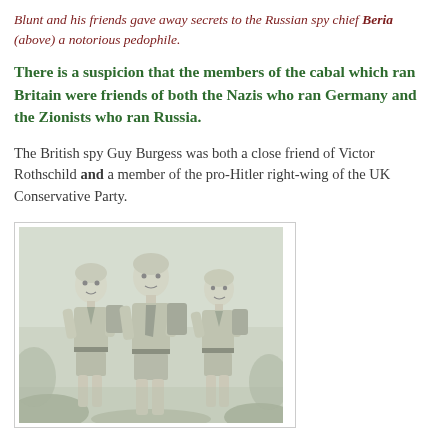Blunt and his friends gave away secrets to the Russian spy chief Beria (above) a notorious pedophile.
There is a suspicion that the members of the cabal which ran Britain were friends of both the Nazis who ran Germany and the Zionists who ran Russia.
The British spy Guy Burgess was both a close friend of Victor Rothschild and a member of the pro-Hitler right-wing of the UK Conservative Party.
[Figure (illustration): Black and white illustration of three boys/young men dressed in scout-like uniforms with neckerchiefs and backpacks, standing together outdoors.]